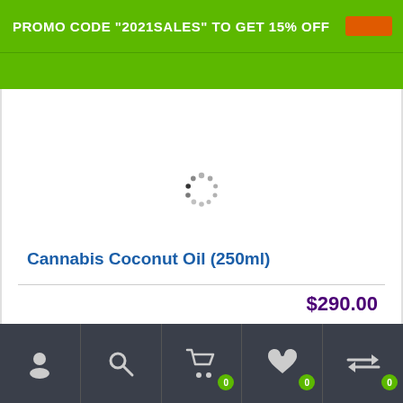PROMO CODE "2021SALES" TO GET 15% OFF
[Figure (screenshot): Loading spinner (activity indicator) in center of product image area]
Cannabis Coconut Oil (250ml)
$290.00
Bottom navigation bar with user, search, cart (0), wishlist (0), and compare (0) icons